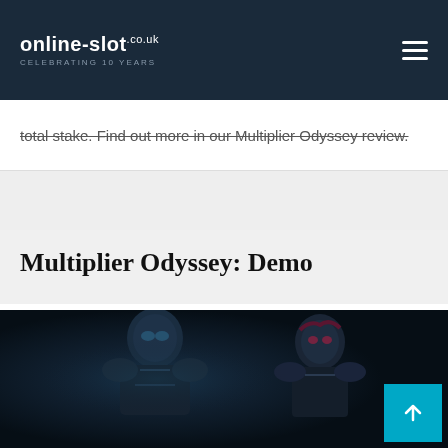online-slot.co.uk CELEBRATING 10 YEARS
total stake. Find out more in our Multiplier Odyssey review.
Multiplier Odyssey: Demo
[Figure (photo): Dark sci-fi themed slot game demo image showing two characters in a dark space setting]